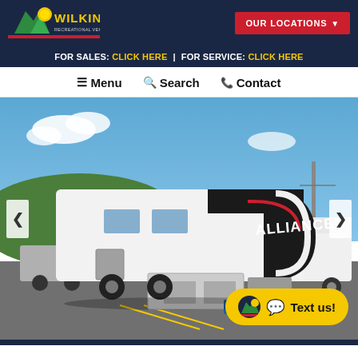[Figure (logo): Wilkins Recreational Vehicles, Inc. logo - colorful mountain/sun design with yellow and green text]
OUR LOCATIONS ▼
FOR SALES: CLICK HERE | FOR SERVICE: CLICK HERE
≡ Menu   🔍 Search   📞 Contact
[Figure (photo): Alliance fifth-wheel RV/travel trailer displayed in a dealership parking lot with blue sky and green hills in background. Several other RVs visible. 'ALLIANCE' branding on front cap.]
Text us!